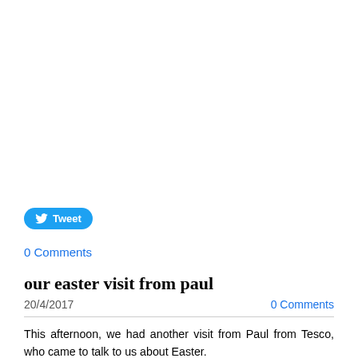[Figure (other): Twitter Tweet button with bird icon]
0 Comments
our easter visit from paul
20/4/2017
0 Comments
This afternoon, we had another visit from Paul from Tesco, who came to talk to us about Easter.
He spoke to us about all the different ingredients which go into Hot Cross Buns. We smelt lots of mixed spices such as ginger, cinnamon and nutmeg- we even got to try some hot cross buns too - they were yummy!
Paul also spoke to us about why we have eggs at Easter - explaining to us that many years ago people used to decorate                    eggs, and why we now have chocolate Easter eggs. After this, we then had the chance to design and